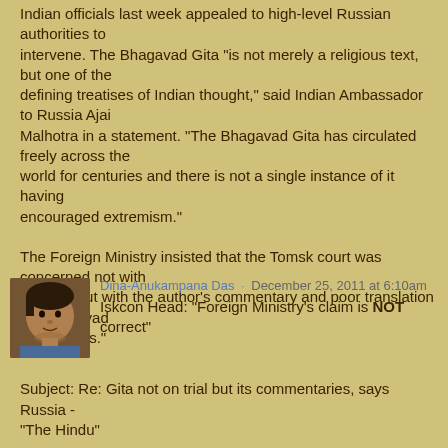Indian officials last week appealed to high-level Russian authorities to intervene. The Bhagavad Gita "is not merely a religious text, but one of the defining treatises of Indian thought," said Indian Ambassador to Russia Ajai Malhotra in a statement. "The Bhagavad Gita has circulated freely across the world for centuries and there is not a single instance of it having encouraged extremism."
The Foreign Ministry insisted that the Tomsk court was concerned not with the Gita but with the author's commentary and poor translation in "Bhagavad Gita As It Is."
Dina-Anukampana Das · December 25, 2011 at 6:10am
Iskcon Head:  "Foreign Ministry's claim is NOT correct"
Subject:   Re: Gita not on trial but its commentaries, says Russia - "The Hindu"